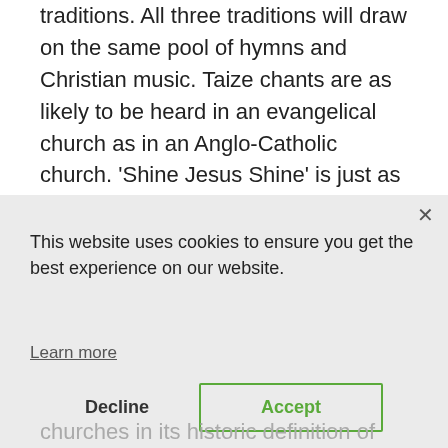traditions. All three traditions will draw on the same pool of hymns and Christian music. Taize chants are as likely to be heard in an evangelical church as in an Anglo-Catholic church. 'Shine Jesus Shine' is just as likely to be sung in an Anglo-Catholic church as an evangelical church. And that's a situation that
[Figure (screenshot): Cookie consent popup overlay with 'This website uses cookies to ensure you get the best experience on our website.' text, a 'Learn more' link, a 'Decline' button, and a green-outlined 'Accept' button. An X close button is in the top right.]
churches in its historic definition of being a